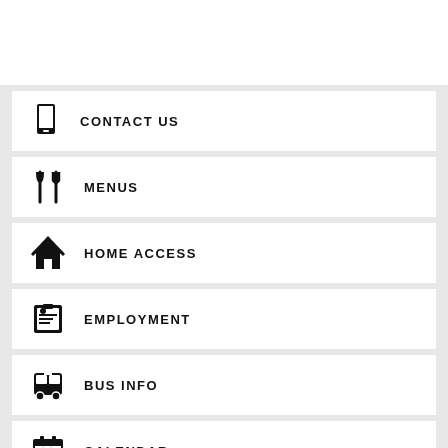CONTACT US
MENUS
HOME ACCESS
EMPLOYMENT
BUS INFO
CALENDAR
WEATHER